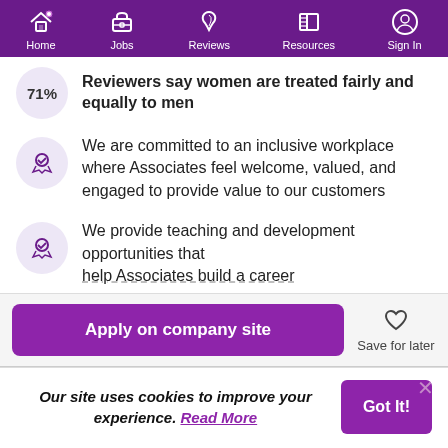Home | Jobs | Reviews | Resources | Sign In
71% Reviewers say women are treated fairly and equally to men
We are committed to an inclusive workplace where Associates feel welcome, valued, and engaged to provide value to our customers
We provide teaching and development opportunities that help Associates build a career
Apply on company site
Save for later
Our site uses cookies to improve your experience. Read More
Got It!